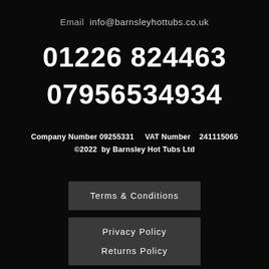Email  info@barnsleyhottubs.co.uk
01226 824463
07956534934
Company Number 09255331    VAT Number   241115065
©2022  by Barnsley Hot Tubs Ltd
Terms & Conditions
Privacy Policy
Returns Policy